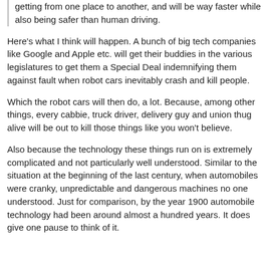getting from one place to another, and will be way faster while also being safer than human driving.
Here's what I think will happen. A bunch of big tech companies like Google and Apple etc. will get their buddies in the various legislatures to get them a Special Deal indemnifying them against fault when robot cars inevitably crash and kill people.
Which the robot cars will then do, a lot. Because, among other things, every cabbie, truck driver, delivery guy and union thug alive will be out to kill those things like you won't believe.
Also because the technology these things run on is extremely complicated and not particularly well understood. Similar to the situation at the beginning of the last century, when automobiles were cranky, unpredictable and dangerous machines no one understood. Just for comparison, by the year 1900 automobile technology had been around almost a hundred years. It does give one pause to think of it.